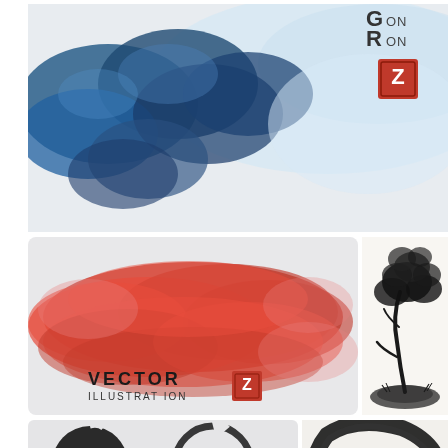[Figure (illustration): Watercolor ink wash painting with blue and dark blue swirling cloud/smoke shapes on a light background, with partial text 'G R' 'ON' and a red square seal with letter Z in top right]
[Figure (illustration): Red watercolor ink wash splash/blot on light gray background with text 'VECTOR ILLUSTRATION' and a red square seal with letter Z below the red wash]
[Figure (illustration): Japanese sumi-e ink brush painting of a pine tree on a rocky mound, black ink on white background]
[Figure (illustration): Two circular enso-style brush stroke circles on light gray background, left circle filled black with 'VECTOR DESIGN' text, right circle outline with 'VECTOR DESIGN' text]
[Figure (illustration): Large enso zen circle brush stroke in black ink on white/light background with some text visible inside]